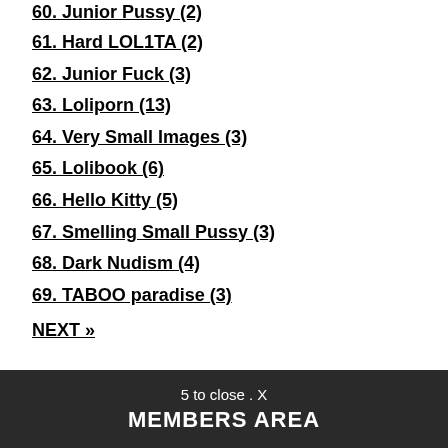60. Junior Pussy (2)
61. Hard LOL1TA (2)
62. Junior Fuck (3)
63. Loliporn (13)
64. Very Small Images (3)
65. Lolibook (6)
66. Hello Kitty (5)
67. Smelling Small Pussy (3)
68. Dark Nudism (4)
69. TABOO paradise (3)
NEXT »
5 to close . X
MEMBERS AREA